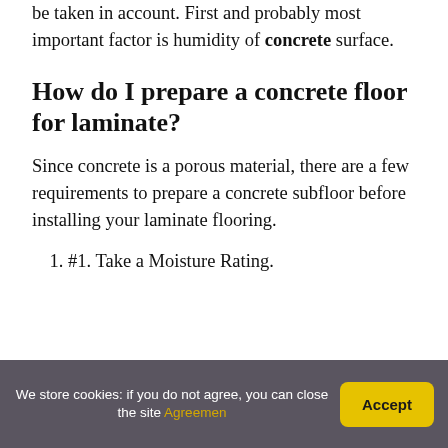be taken in account. First and probably most important factor is humidity of concrete surface.
How do I prepare a concrete floor for laminate?
Since concrete is a porous material, there are a few requirements to prepare a concrete subfloor before installing your laminate flooring.
#1. Take a Moisture Rating.
We store cookies: if you do not agree, you can close the site Agreemen
Accept